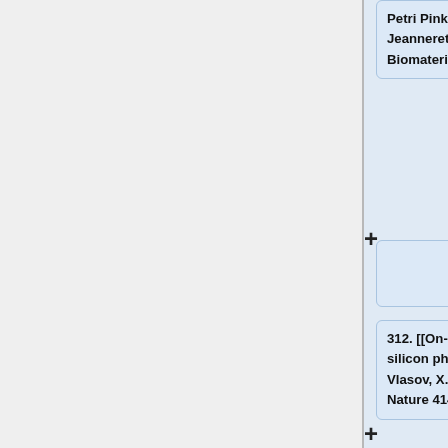Petri Pinka, M. Chastellaina, L. Juillerat-Jeanneretb, A. Ferraria, H. Hofmann. Biomaterials 26 (2005) 2685–2694
+
312. [[On-chip natural assembly of silicon photonic bandgap crystals]] Y.A. Vlasov, X.-Z. Bo, J.C. Sturm, D.J. Norris, Nature 414, 289-293 (2001).
+